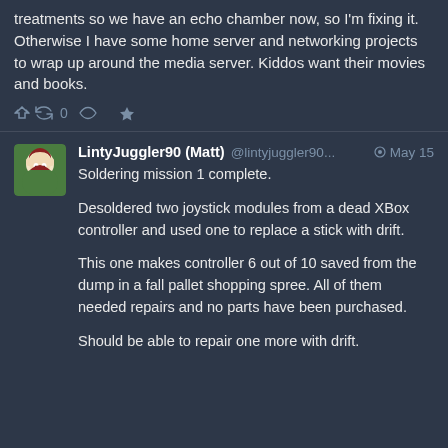treatments so we have an echo chamber now, so I'm fixing it.
Otherwise I have some home server and networking projects to wrap up around the media server. Kiddos want their movies and books.
LintyJuggler90 (Matt) @lintyjuggler90... May 15
Soldering mission 1 complete.

Desoldered two joystick modules from a dead XBox controller and used one to replace a stick with drift.

This one makes controller 6 out of 10 saved from the dump in a fall pallet shopping spree. All of them needed repairs and no parts have been purchased.

Should be able to repair one more with drift.